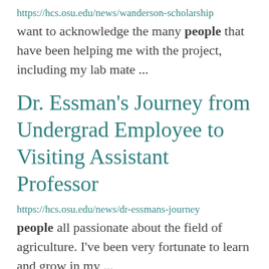https://hcs.osu.edu/news/wanderson-scholarship
want to acknowledge the many people that have been helping me with the project, including my lab mate ...
Dr. Essman's Journey from Undergrad Employee to Visiting Assistant Professor
https://hcs.osu.edu/news/dr-essmans-journey
people all passionate about the field of agriculture. I've been very fortunate to learn and grow in my ...
HCS Alumni Spotlight – Mike